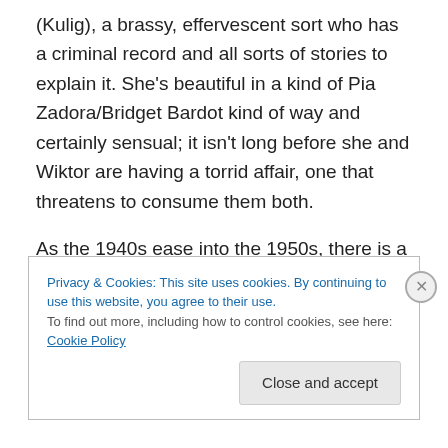(Kulig), a brassy, effervescent sort who has a criminal record and all sorts of stories to explain it. She's beautiful in a kind of Pia Zadora/Bridget Bardot kind of way and certainly sensual; it isn't long before she and Wiktor are having a torrid affair, one that threatens to consume them both.

As the 1940s ease into the 1950s, there is a subtle change in the mission of the troupe. No longer content to save and extol Poland's musical and artistic past, naked propaganda has begun to work its way into the program,
Privacy & Cookies: This site uses cookies. By continuing to use this website, you agree to their use.
To find out more, including how to control cookies, see here: Cookie Policy
Close and accept